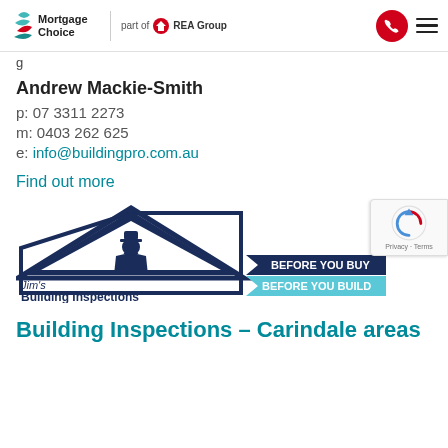Mortgage Choice — part of REA Group
g
Andrew Mackie-Smith
p: 07 3311 2273
m: 0403 262 625
e: info@buildingpro.com.au
Find out more
[Figure (logo): Jim's Building Inspections logo with dark navy house/triangle outline, figure wearing hat, taglines 'BEFORE YOU BUY' and 'BEFORE YOU BUILD' in navy and light blue banners]
Building Inspections – Carindale areas